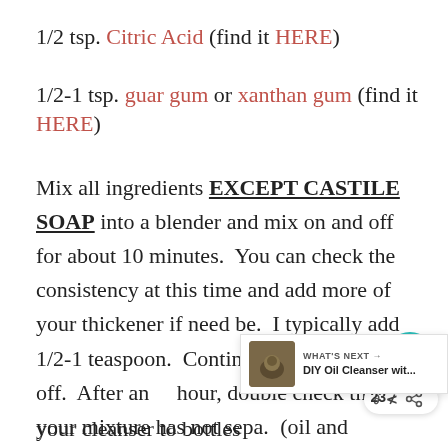1/2 tsp. Citric Acid (find it HERE)
1/2-1 tsp. guar gum or xanthan gum (find it HERE)
Mix all ingredients EXCEPT CASTILE SOAP into a blender and mix on and off for about 10 minutes. You can check the consistency at this time and add more of your thickener if need be. I typically add 1/2-1 teaspoon. Continue blending on and off. After an hour, double check that your mixture has not sepa... (oil and water). If it hasn't, add your casti... it a quick pulse or two with the blender and transfer your cleanser to bottles